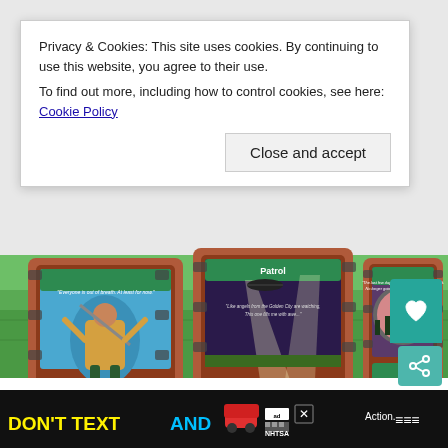Privacy & Cookies: This site uses cookies. By continuing to use this website, you agree to their use.
To find out more, including how to control cookies, see here: Cookie Policy
Close and accept
[Figure (photo): Three game cards displayed on a stone/grass background. Left card shows a warrior character with text 'No Combat this round'. Center card labeled 'Patrol' shows searchlights over a field, text 'No [lock icon] this round'. Right card shows a figure with a bow in a circular portal view, text 'In each [lock] get +2'.]
Global Events affect all players for one round, and then are re[placed by the] next round.
At the[...] [...] Action.
[Figure (infographic): Bottom banner advertisement: DON'T TEXT AND [car emoji] with NHTSA logo and ad badge. Close X button visible. Right side shows share icon and like/bookmark icon buttons.]